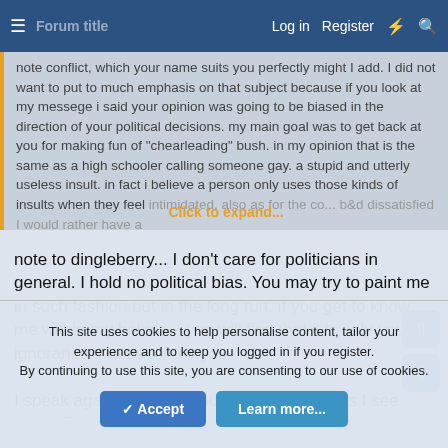Log in  Register
note conflict, which your name suits you perfectly might I add. I did not want to put to much emphasis on that subject because if you look at my messege i said your opinion was going to be biased in the direction of your political decisions. my main goal was to get back at you for making fun of "chearleading" bush. in my opinion that is the same as a high schooler calling someone gay. a stupid and utterly useless insult. in fact i believe a person only uses those kinds of insults when they feel intimidated. also as for the... [Click to expand...] I would rather have a
note to dingleberry... I don't care for politicians in general. I hold no political bias. You may try to paint me in such fashion but in the long run, if you get to know me within my beliefs... you will find that it is only your ignorance that becomes you.
I speak against politics and I call situations as I see them. Forgive
This site uses cookies to help personalise content, tailor your experience and to keep you logged in if you register.
By continuing to use this site, you are consenting to our use of cookies.